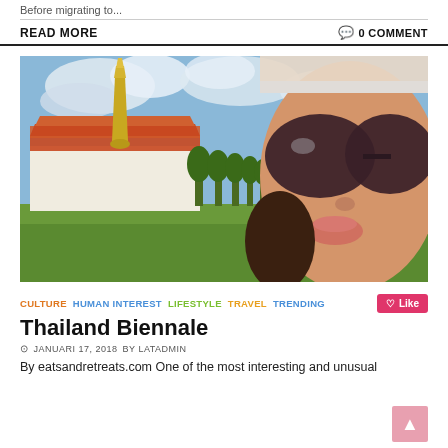Before migrating to...
READ MORE   0 COMMENT
[Figure (photo): Woman with large sunglasses making a pout/kiss face in front of a Thai temple (Grand Palace area) with a golden spire, orange-roofed buildings, green trees, and lawn, under a partly cloudy blue sky.]
CULTURE  HUMAN INTEREST  LIFESTYLE  TRAVEL  TRENDING
Thailand Biennale
© JANUARI 17, 2018  BY LATADMIN
By eatsandretreats.com One of the most interesting and unusual